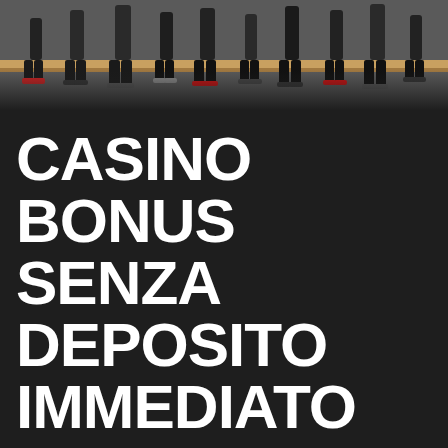[Figure (photo): Dark photograph showing people's feet/lower legs standing on a stage or platform, crowd scene from below stage level]
CASINO BONUS SENZA DEPOSITO IMMEDIATO
⊙ 29 DICEMBRE 2020
The list is based mostly on your country, as many